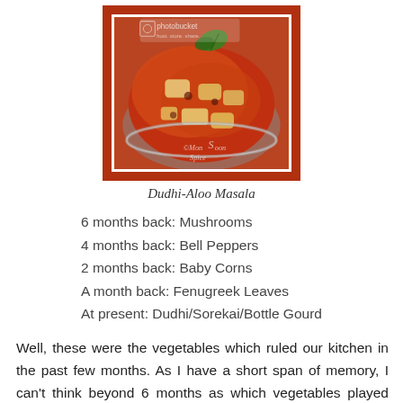[Figure (photo): A photo of Dudhi-Aloo Masala dish in a metal bowl, showing curry with vegetables in red-orange sauce, garnished with a green herb leaf. Photo has a dark brown/red decorative frame border with a white inner border. Watermark reads MonsoonSpice.]
Dudhi-Aloo Masala
6 months back: Mushrooms
4 months back: Bell Peppers
2 months back: Baby Corns
A month back: Fenugreek Leaves
At present: Dudhi/Sorekai/Bottle Gourd
Well, these were the vegetables which ruled our kitchen in the past few months. As I have a short span of memory, I can't think beyond 6 months as which vegetables played centre role in everyday cooking. You see there is nothing